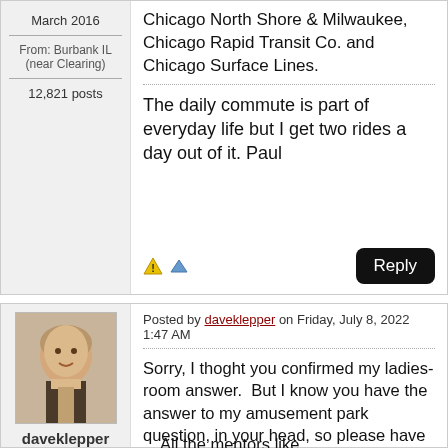Chicago North Shore & Milwaukee, Chicago Rapid Transit Co. and Chicago Surface Lines.
The daily commute is part of everyday life but I get two rides a day out of it. Paul
March 2016
From: Burbank IL (near Clearing)
12,821 posts
Posted by daveklepper on Friday, July 8, 2022 1:47 AM
Sorry, I thoght you confirmed my ladies-room answer.  But I know you have the answer to my amusement park question, in your head, so please have at it.
All thementors like...
daveklepper
Member since June 2002